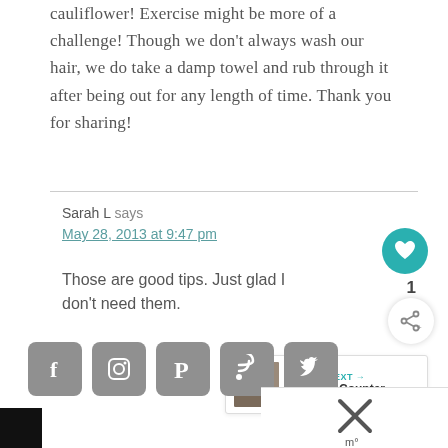cauliflower! Exercise might be more of a challenge! Though we don't always wash our hair, we do take a damp towel and rub through it after being out for any length of time. Thank you for sharing!
Sarah L says
May 28, 2013 at 9:47 pm
Those are good tips. Just glad I don't need them.
[Figure (screenshot): Heart/like button (teal circle with heart icon), like count '1', and share button]
[Figure (infographic): What's Next widget showing thumbnail image and text 'Over the Counter...' with arrow]
[Figure (infographic): Social media icon bar: Facebook, Instagram, Pinterest, RSS, Twitter icons on grey rounded squares]
[Figure (screenshot): Bottom bar with black section on left and white section with X on right]